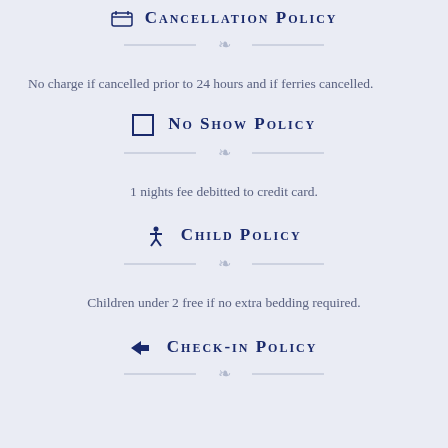Cancellation Policy
No charge if cancelled prior to 24 hours and if ferries cancelled.
No Show Policy
1 nights fee debitted to credit card.
Child Policy
Children under 2 free if no extra bedding required.
Check-in Policy